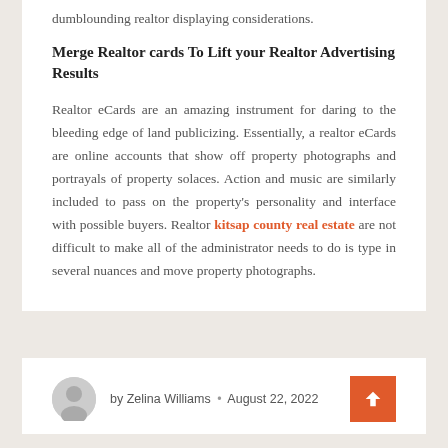dumblounding realtor displaying considerations.
Merge Realtor cards To Lift your Realtor Advertising Results
Realtor eCards are an amazing instrument for daring to the bleeding edge of land publicizing. Essentially, a realtor eCards are online accounts that show off property photographs and portrayals of property solaces. Action and music are similarly included to pass on the property's personality and interface with possible buyers. Realtor kitsap county real estate are not difficult to make all of the administrator needs to do is type in several nuances and move property photographs.
by Zelina Williams • August 22, 2022